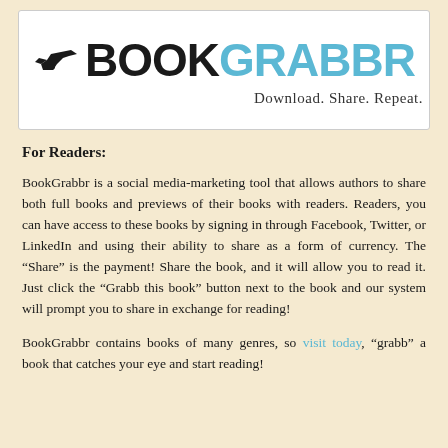[Figure (logo): BookGrabbr logo with bird silhouette, bold black 'BOOK' and blue 'GRABBR' text, tagline 'Download. Share. Repeat.']
For Readers:
BookGrabbr is a social media-marketing tool that allows authors to share both full books and previews of their books with readers. Readers, you can have access to these books by signing in through Facebook, Twitter, or LinkedIn and using their ability to share as a form of currency. The “Share” is the payment! Share the book, and it will allow you to read it. Just click the “Grabb this book” button next to the book and our system will prompt you to share in exchange for reading!
BookGrabbr contains books of many genres, so visit today, "grabb" a book that catches your eye and start reading!